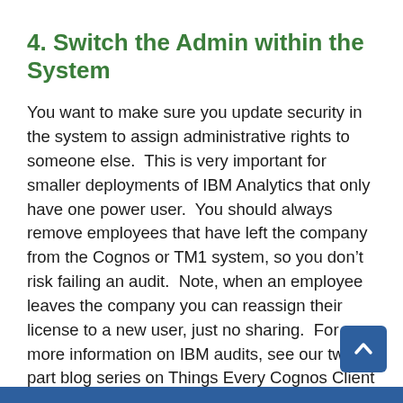4. Switch the Admin within the System
You want to make sure you update security in the system to assign administrative rights to someone else.  This is very important for smaller deployments of IBM Analytics that only have one power user.  You should always remove employees that have left the company from the Cognos or TM1 system, so you don’t risk failing an audit.  Note, when an employee leaves the company you can reassign their license to a new user, just no sharing.  For more information on IBM audits, see our two-part blog series on Things Every Cognos Client Needs to Know about an IBM Audit.